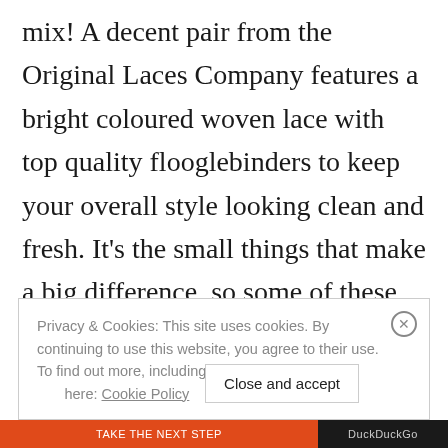mix! A decent pair from the Original Laces Company features a bright coloured woven lace with top quality flooglebinders to keep your overall style looking clean and fresh. It's the small things that make a big difference, so some of these would definitely feature in the ThatIsBeyond Box.
Privacy & Cookies: This site uses cookies. By continuing to use this website, you agree to their use. To find out more, including how to control cookies, see here: Cookie Policy